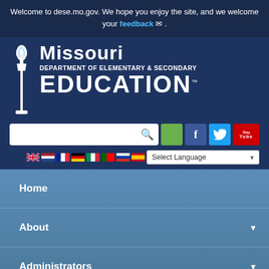Welcome to dese.mo.gov. We hope you enjoy the site, and we welcome your feedback .
[Figure (logo): Missouri Department of Elementary & Secondary Education logo with torch icon]
[Figure (screenshot): Search bar with social media buttons for Facebook, Twitter, YouTube and language selector with country flags]
Home
About
Administrators